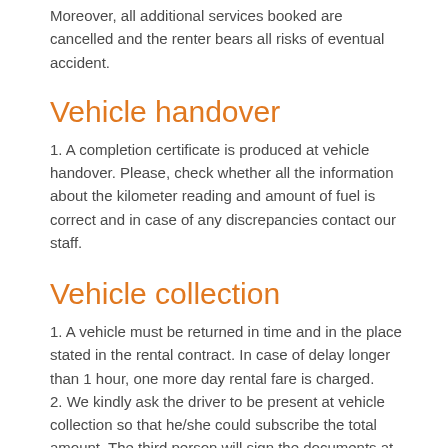Moreover, all additional services booked are cancelled and the renter bears all risks of eventual accident.
Vehicle handover
1. A completion certificate is produced at vehicle handover. Please, check whether all the information about the kilometer reading and amount of fuel is correct and in case of any discrepancies contact our staff.
Vehicle collection
1. A vehicle must be returned in time and in the place stated in the rental contract. In case of delay longer than 1 hour, one more day rental fare is charged.
2. We kindly ask the driver to be present at vehicle collection so that he/she could subscribe the total amount. The third person will sign the documents at